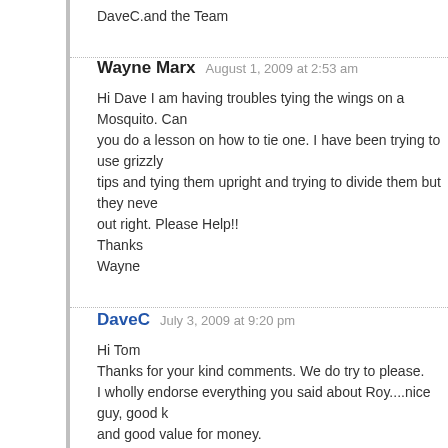DaveC.and the Team
Wayne Marx
August 1, 2009 at 2:53 am

Hi Dave I am having troubles tying the wings on a Mosquito. Can you do a lesson on how to tie one. I have been trying to use grizzly tips and tying them upright and trying to divide them but they never out right. Please Help!!
Thanks
Wayne
DaveC
July 3, 2009 at 9:20 pm

Hi Tom
Thanks for your kind comments. We do try to please.
I wholly endorse everything you said about Roy....nice guy, good k and good value for money.
Happy Fishing
DaveC.and the Team